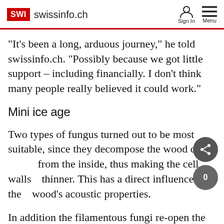SWI swissinfo.ch  Sign In  Menu
"It's been a long, arduous journey," he told swissinfo.ch. "Possibly because we got little support – including financially. I don't think many people really believed it could work."
Mini ice age
Two types of fungus turned out to be most suitable, since they decompose the wood cells from the inside, thus making the cell walls thinner. This has a direct influence on the wood's acoustic properties.
In addition the filamentous fungi re-open the cell membranes – the link to the exchange of